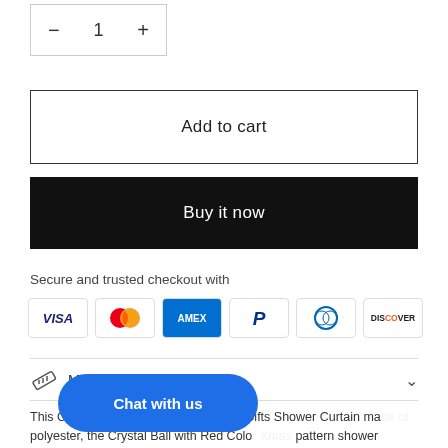[Figure (other): Quantity selector box showing minus button, number 1, and plus button]
Add to cart
Buy it now
Secure and trusted checkout with
[Figure (other): Payment method icons: VISA, Mastercard, American Express, PayPal, Diners Club, Discover]
Material&Dimensions
This Crystal Ball with Red Color Xmas Gifts Shower Curtain ma... polyester, the Crystal Ball with Red Colo... pattern shower curtain is suitable design for Christmas home bath decoration style. This Crystal Ball with
[Figure (other): Chat with us button overlay (blue rounded rectangle)]